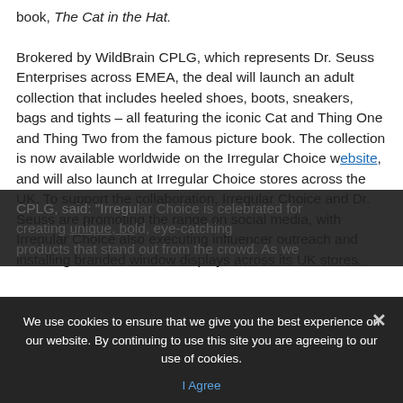book, The Cat in the Hat. Brokered by WildBrain CPLG, which represents Dr. Seuss Enterprises across EMEA, the deal will launch an adult collection that includes heeled shoes, boots, sneakers, bags and tights – all featuring the iconic Cat and Thing One and Thing Two from the famous picture book. The collection is now available worldwide on the Irregular Choice website, and will also launch at Irregular Choice stores across the UK. To support the collaboration, Irregular Choice and Dr. Seuss are promoting the range on social media, with Irregular Choice also executing influencer outreach and installing branded window displays across its UK stores.
CPLG, said: "Irregular Choice is celebrated for creating unique, bold, eye-catching products that stand out from the crowd. As we
We use cookies to ensure that we give you the best experience on our website. By continuing to use this site you are agreeing to our use of cookies. I Agree